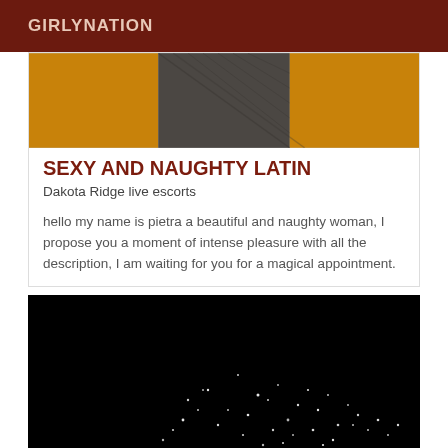GIRLYNATION
[Figure (photo): Partial photo of a person wearing orange and a patterned dark top, cropped to show torso area only]
SEXY AND NAUGHTY LATIN
Dakota Ridge live escorts
hello my name is pietra a beautiful and naughty woman, I propose you a moment of intense pleasure with all the description, I am waiting for you for a magical appointment.
[Figure (photo): Dark/black image with scattered white light spots resembling stars or bokeh light points on a black background]